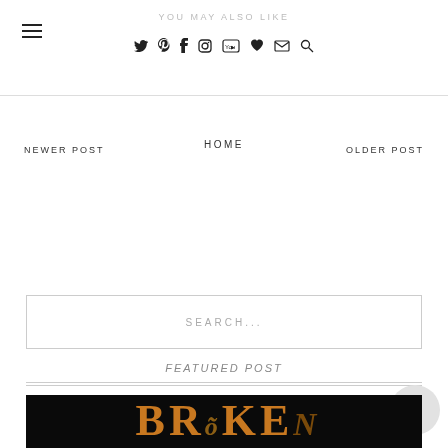YOU MAY ALSO LIKE
NEWER POST
HOME
OLDER POST
SEARCH...
FEATURED POST
[Figure (photo): Book cover with orange decorative title text on dark background, partially visible]